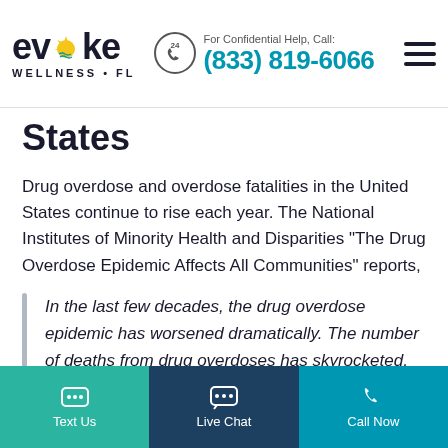Evoke Wellness FL | For Confidential Help, Call: (833) 819-6066
States
Drug overdose and overdose fatalities in the United States continue to rise each year. The National Institutes of Minority Health and Disparities “The Drug Overdose Epidemic Affects All Communities” reports,
In the last few decades, the drug overdose epidemic has worsened dramatically. The number of deaths from drug overdoses has skyrocketed, particularly among white people and people who live in rural areas. This epidemic aspect has gotten a lot of attention because the rate has been increasing so quickly. However, it is not the whole story of the drug
Text Us | Live Chat | Call Now